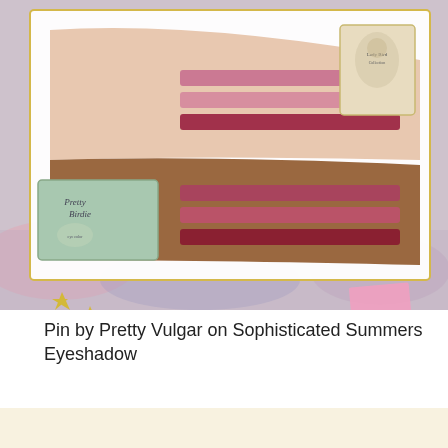[Figure (photo): Photo showing two arms with lip color swatches (rose, berry, and red shades) applied on the forearm skin in multiple stripes. One arm is lighter-toned and one is darker-toned. Both hands hold decorative vintage-style eyeshadow palette boxes. The image has a white border/shadow box frame effect with decorative gold star shapes and a pink sticky note element in the lower corners, set against a colorful painted background.]
Pin by Pretty Vulgar on Sophisticated Summers Eyeshadow